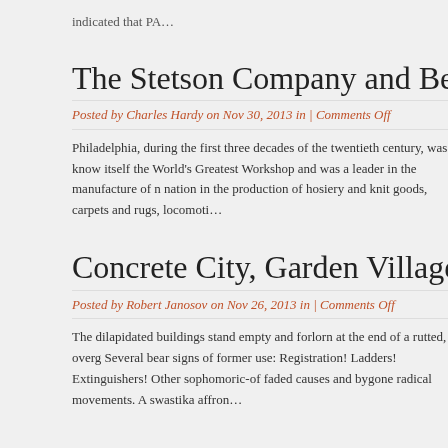indicated that PA…
The Stetson Company and Benev
Posted by Charles Hardy on Nov 30, 2013 in | Comments Off
Philadelphia, during the first three decades of the twentieth century, was know itself the World's Greatest Workshop and was a leader in the manufacture of n nation in the production of hosiery and knit goods, carpets and rugs, locomoti…
Concrete City, Garden Village of t
Posted by Robert Janosov on Nov 26, 2013 in | Comments Off
The dilapidated buildings stand empty and forlorn at the end of a rutted, overg Several bear signs of former use: Registration! Ladders! Extinguishers! Other sophomoric-of faded causes and bygone radical movements. A swastika affron…